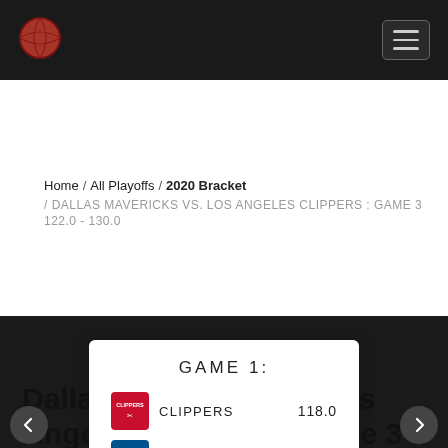Navigation bar with basketball logo and hamburger menu
Home / All Playoffs / 2020 Bracket / DALLAS MAVERICKS VS. LOS ANGELES CLIPPERS : GAME 3 122.0 - 130.0
[Figure (infographic): Game 1 scorecard showing CLIPPERS 118.0 vs MAVERICKS 110.0, with team logos, navigation arrows on dark background]
Dallas Mavericks vs. Los Angeles Clippers : Game 3 122.0 - 130.0